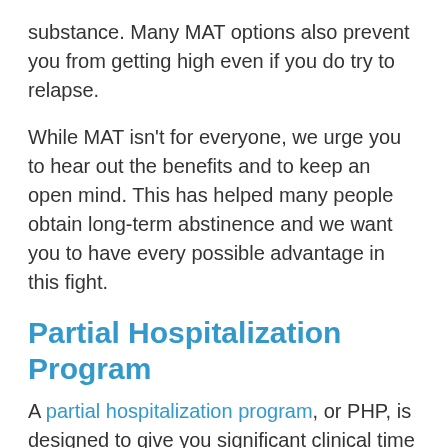substance. Many MAT options also prevent you from getting high even if you do try to relapse.
While MAT isn't for everyone, we urge you to hear out the benefits and to keep an open mind. This has helped many people obtain long-term abstinence and we want you to have every possible advantage in this fight.
Partial Hospitalization Program
A partial hospitalization program, or PHP, is designed to give you significant clinical time while also allowing you to go home to your friends and family. In many respects it's a combination of hospitalization and outpatient treatment, giving you the best of both.